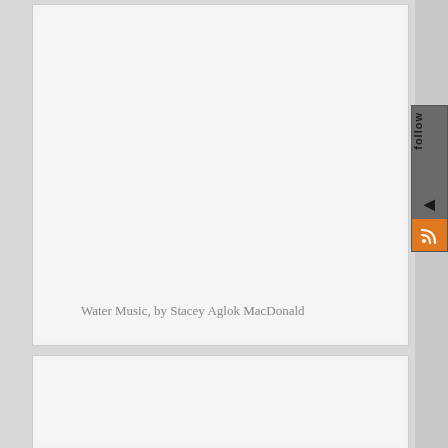[Figure (photo): Large light gray image placeholder box at top of page]
Water Music, by Stacey Aglok MacDonald
[Figure (photo): Second light gray image placeholder box at bottom of page]
[Figure (other): Vertical side panel with 'follow' text, arrow, and orange RSS feed icon]